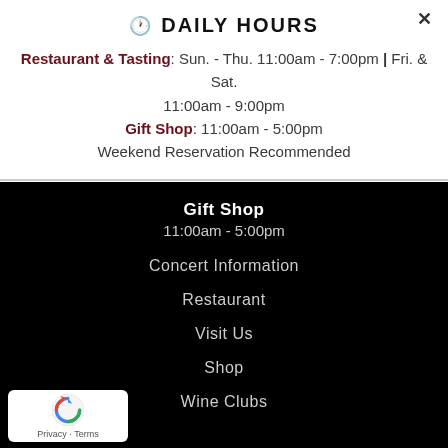DAILY HOURS
Restaurant & Tasting: Sun. - Thu. 11:00am - 7:00pm | Fri. & Sat. 11:00am - 9:00pm
Gift Shop: 11:00am - 5:00pm
Weekend Reservation Recommended
Gift Shop
11:00am - 5:00pm
Concert Information
Restaurant
Visit Us
Shop
Wine Clubs